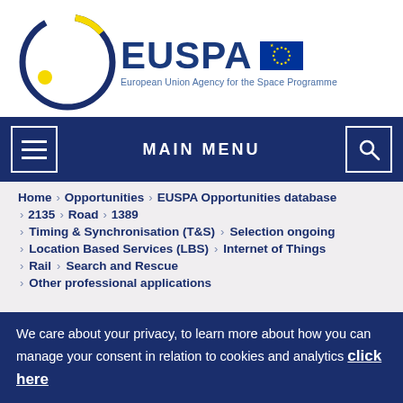[Figure (logo): EUSPA logo — European Union Agency for the Space Programme with circular blue/yellow emblem and EU flag]
[Figure (screenshot): Navigation bar with hamburger menu icon, MAIN MENU label, and search icon on dark blue background]
Home > Opportunities > EUSPA Opportunities database > 2135 > Road > 1389 > Timing & Synchronisation (T&S) > Selection ongoing > Location Based Services (LBS) > Internet of Things > Rail > Search and Rescue > Other professional applications
We care about your privacy, to learn more about how you can manage your consent in relation to cookies and analytics click here